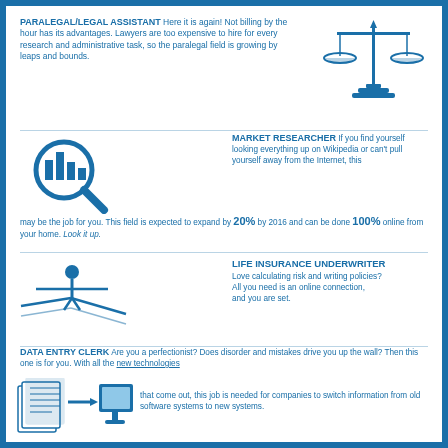PARALEGAL/LEGAL ASSISTANT Here it is again! Not billing by the hour has its advantages. Lawyers are too expensive to hire for every research and administrative task, so the paralegal field is growing by leaps and bounds.
[Figure (illustration): Balance scales icon in blue]
[Figure (illustration): Magnifying glass over bar chart icon in blue]
MARKET RESEARCHER If you find yourself looking everything up on Wikipedia or can't pull yourself away from the Internet, this may be the job for you. This field is expected to expand by 20% by 2016 and can be done 100% online from your home. Look it up.
[Figure (illustration): Person walking a tightrope icon in blue]
LIFE INSURANCE UNDERWRITER Love calculating risk and writing policies? All you need is an online connection, and you are set.
DATA ENTRY CLERK Are you a perfectionist? Does disorder and mistakes drive you up the wall? Then this one is for you. With all the new technologies that come out, this job is needed for companies to switch information from old software systems to new systems.
[Figure (illustration): Stack of papers with arrow pointing to computer monitor icon in blue]
COPY EDITORS and WRITERS Put your writing skills to the test in this